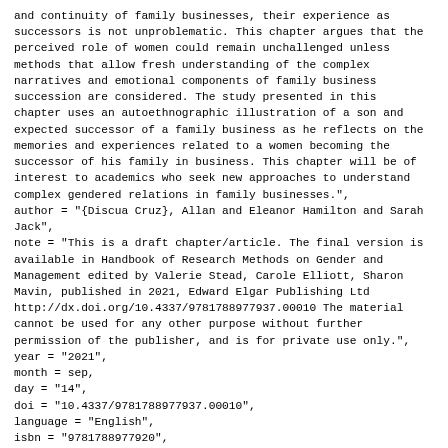and continuity of family businesses, their experience as successors is not unproblematic. This chapter argues that the perceived role of women could remain unchallenged unless methods that allow fresh understanding of the complex narratives and emotional components of family business succession are considered. The study presented in this chapter uses an autoethnographic illustration of a son and expected successor of a family business as he reflects on the memories and experiences related to a women becoming the successor of his family in business. This chapter will be of interest to academics who seek new approaches to understand complex gendered relations in family businesses.",
author = "{Discua Cruz}, Allan and Eleanor Hamilton and Sarah Jack",
note = "This is a draft chapter/article. The final version is available in Handbook of Research Methods on Gender and Management edited by Valerie Stead, Carole Elliott, Sharon Mavin, published in 2021, Edward Elgar Publishing Ltd http://dx.doi.org/10.4337/9781788977937.00010 The material cannot be used for any other purpose without further permission of the publisher, and is for private use only.",
year = "2021",
month = sep,
day = "14",
doi = "10.4337/9781788977937.00010",
language = "English",
isbn = "9781788977920",
pages = "38--55",
editor = "Valerie Stead and Carole Elliott and Sharon Mavin",
booktitle = "Handbook of Research Methods on Gender and Management",
publisher = "Edward Elgar",
}